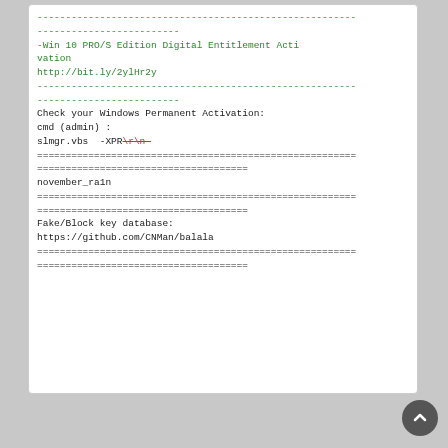-- (partial dashes line), -Win 10 PRO/S Edition Digital Entitlement Activation
http://bit.ly/2ylHr2y
--(dashes)--
Check your Windows Permanent Activation:
cmd (admin) :
slmgr.vbs  -XPR\r\n-
========================================================
=====================================
november_ra1n
========================================================
=====================================
Fake/Block key database:
https://github.com/CNMan/balala
========================================================
=====================================